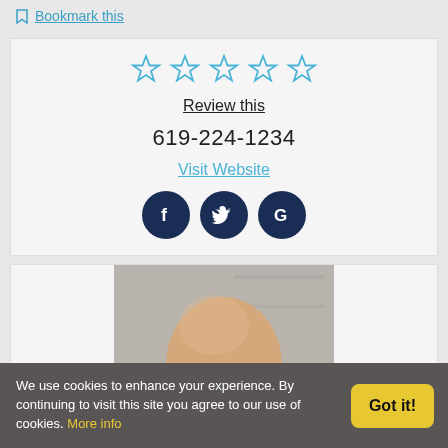Bookmark this
[Figure (other): Five empty star rating icons in blue outline]
Review this
619-224-1234
Visit Website
[Figure (other): Social media icons: Facebook, Twitter, Google in dark navy circles]
[Figure (photo): Photo of a bald man wearing dark-rimmed glasses, cropped to show top of head and upper face]
We use cookies to enhance your experience. By continuing to visit this site you agree to our use of cookies. More info